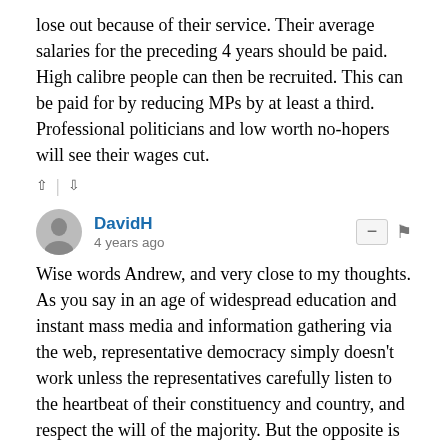lose out because of their service. Their average salaries for the preceding 4 years should be paid. High calibre people can then be recruited. This can be paid for by reducing MPs by at least a third. Professional politicians and low worth no-hopers will see their wages cut.
DavidH · 4 years ago
Wise words Andrew, and very close to my thoughts.
As you say in an age of widespread education and instant mass media and information gathering via the web, representative democracy simply doesn't work unless the representatives carefully listen to the heartbeat of their constituency and country, and respect the will of the majority. But the opposite is the case. Manifestoes used by voters to try to assess what sort of government they would be helping to elect with their votes are now worthless, ignored within a week of a GE. Perhaps worse still governments pass laws on highly important and divisive matters that, although not urgent or impossible to foresee, were not even mentioned in their pre-election manifesto. In short those who are really our servants, walk all over us. Parliament has no intrinsic authority, only that accorded